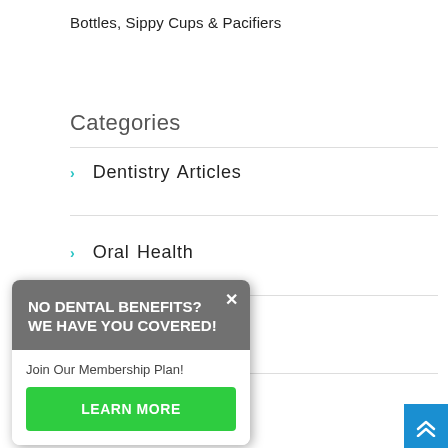Bottles, Sippy Cups & Pacifiers
Categories
Dentistry Articles
Oral Health
Uncategorized
[Figure (infographic): Popup modal with dark gray header reading 'NO DENTAL BENEFITS? WE HAVE YOU COVERED!' with a close (×) button, white body with text 'Join Our Membership Plan!' and a green 'LEARN MORE' button]
[Figure (infographic): Blue scroll-to-top button with double chevron up arrows in bottom-right corner]